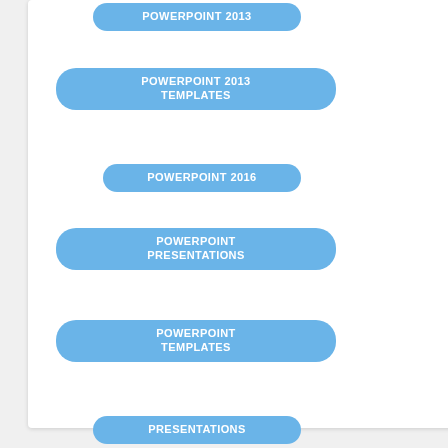POWERPOINT 2013
POWERPOINT 2013 TEMPLATES
POWERPOINT 2016
POWERPOINT PRESENTATIONS
POWERPOINT TEMPLATES
PRESENTATIONS
PRESENTER MEDIA
PRESENTERMEDIA
SERVICES
TEMPLATES
TEMPLATES FOR MAC
WORD